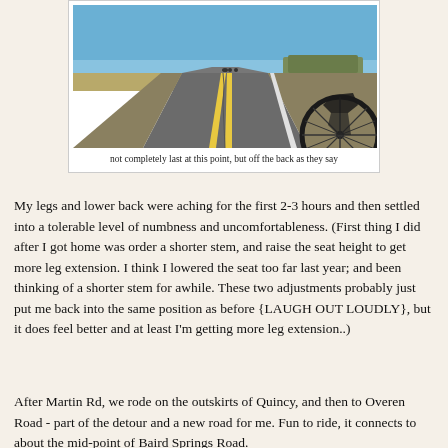[Figure (photo): POV photo from a bicycle on a wide open rural road stretching into the distance under a blue sky, with a bicycle wheel visible in the lower right corner and flat terrain and sparse trees on the sides]
not completely last at this point, but off the back as they say
My legs and lower back were aching for the first 2-3 hours and then settled into a tolerable level of numbness and uncomfortableness.  (First thing I did after I got home was order a shorter stem, and raise the seat height to get more leg extension. I think I lowered the seat too far last year; and been thinking of a shorter stem for awhile.  These two adjustments probably just put me back into the same position as before {LAUGH OUT LOUDLY}, but it does feel better and at least I'm getting more leg extension..)
After Martin Rd, we rode on the outskirts of Quincy, and then to Overen Road - part of the detour and a new road for me.  Fun to ride, it connects to about the mid-point of Baird Springs Road.